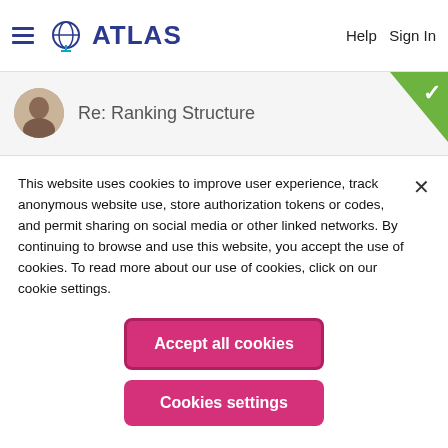ATLAS   Help Sign In
Re: Ranking Structure
This website uses cookies to improve user experience, track anonymous website use, store authorization tokens or codes, and permit sharing on social media or other linked networks. By continuing to browse and use this website, you accept the use of cookies. To read more about our use of cookies, click on our cookie settings.
Accept all cookies
Cookies settings
Khoros Community Product Discussions